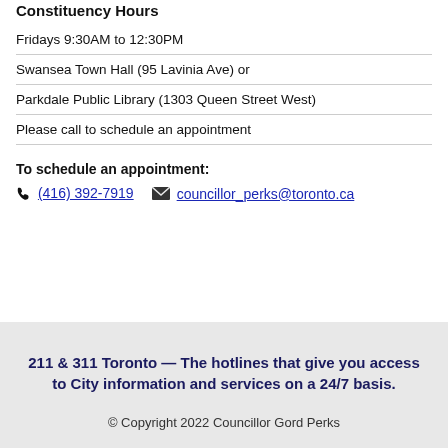Constituency Hours
Fridays 9:30AM to 12:30PM
Swansea Town Hall (95 Lavinia Ave) or
Parkdale Public Library (1303 Queen Street West)
Please call to schedule an appointment
To schedule an appointment:
(416) 392-7919   councillor_perks@toronto.ca
211 & 311 Toronto — The hotlines that give you access to City information and services on a 24/7 basis.
© Copyright 2022 Councillor Gord Perks